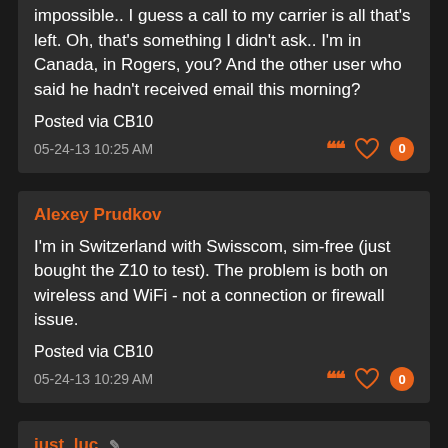impossible.. I guess a call to my carrier is all that's left. Oh, that's something I didn't ask.. I'm in Canada, in Rogers, you? And the other user who said he hadn't received email this morning?
Posted via CB10
05-24-13 10:25 AM
Alexey Prudkov
I'm in Switzerland with Swisscom, sim-free (just bought the Z10 to test). The problem is both on wireless and WiFi - not a connection or firewall issue.
Posted via CB10
05-24-13 10:29 AM
just_luc